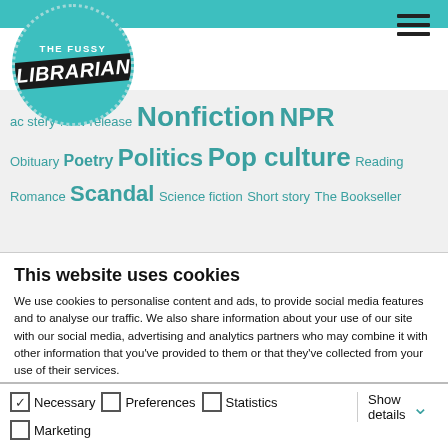[Figure (logo): The Fussy Librarian circular logo with teal background and white text]
ac... stery New release Nonfiction NPR Obituary Poetry Politics Pop culture Reading Romance Scandal Science fiction Short story The Bookseller
This website uses cookies
We use cookies to personalise content and ads, to provide social media features and to analyse our traffic. We also share information about your use of our site with our social media, advertising and analytics partners who may combine it with other information that you've provided to them or that they've collected from your use of their services.
Allow all cookies
Allow selection
Use necessary cookies only
Necessary  Preferences  Statistics  Marketing  Show details